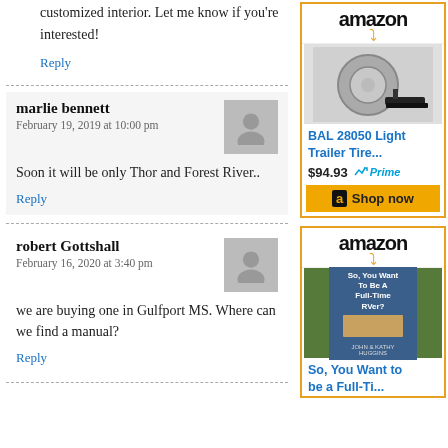customized interior. Let me know if you're interested!
Reply
marlie bennett
February 19, 2019 at 10:00 pm
Soon it will be only Thor and Forest River..
Reply
robert Gottshall
February 16, 2020 at 3:40 pm
we are buying one in Gulfport MS. Where can we find a manual?
Reply
[Figure (other): Amazon advertisement for BAL 28050 Light Trailer Tire product, price $94.93 with Prime badge and Shop now button]
[Figure (other): Amazon advertisement for 'So, You Want to Be a Full-Time RVer?' book by John & Kathy Huggins]